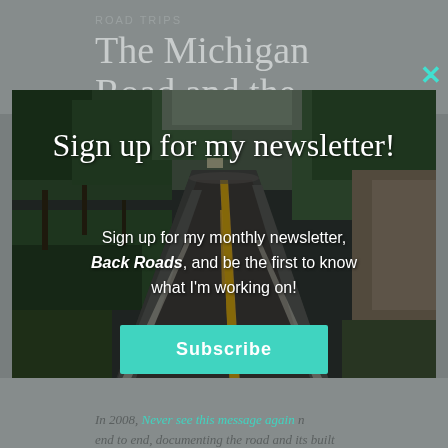ROAD TRIPS
The Michigan Road and the
[Figure (photo): Modal popup overlay on a travel blog page. The modal shows a winding two-lane road through a forested area, used as a background image for a newsletter signup prompt.]
Sign up for my newsletter!
Sign up for my monthly newsletter, Back Roads, and be the first to know what I'm working on!
Subscribe
Never see this message again
In 2008, Never see this message again n end to end, documenting the road and its built environment. Here is an installment of that trip report. While this article refers exclusively to